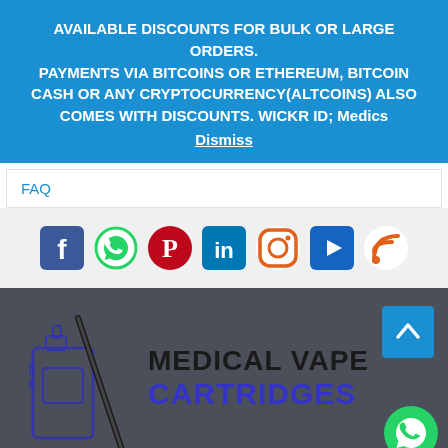AVAILABLE DISCOUNTS FOR BULK OR LARGE ORDERS. PAYMENTS VIA BITCOINS OR ETHEREUM, BITCOIN CASH OR ANY CRYPTOCURRENCY(ALTCOINS) ALSO COMES WITH DISCOUNTS. WICKR ID; Medics
Dismiss
FAQ
[Figure (infographic): Row of social media icons: Facebook (blue), WhatsApp (green), Pinterest (red), LinkedIn (blue), Instagram (orange), YouTube (blue), RSS feed (orange)]
[Figure (logo): Medical Vape Cartridges logo with vape device illustration in dark blue outline on dark gray background, text reads MEDICAL VAPE CARTRIDGES]